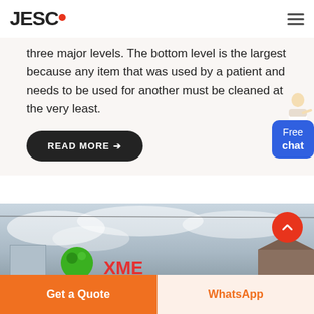JESCO [logo with red dot and hamburger menu]
three major levels. The bottom level is the largest because any item that was used by a patient and needs to be used for another must be cleaned at the very least.
READ MORE →
[Figure (photo): Outdoor photo showing cloudy sky, a building on the left, a traditional roof structure on the right, green logo and red XME text signage at bottom]
Get a Quote
WhatsApp